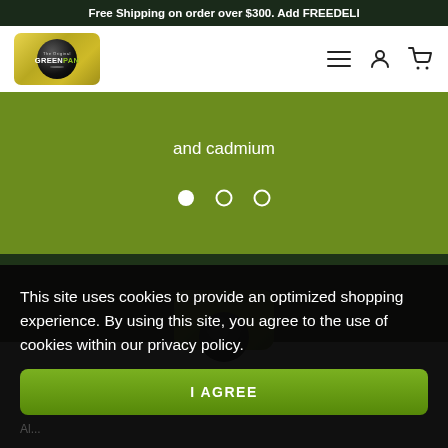Free Shipping on order over $300. Add FREEDELI
[Figure (logo): GreenPan logo — gold rounded rectangle with circular dark emblem and brand name]
and cadmium
[Figure (infographic): Carousel dot indicators: one filled white dot and two empty circle dots]
[Figure (photo): GreenPan product card preview on dark green background]
This site uses cookies to provide an optimized shopping experience. By using this site, you agree to the use of cookies within our privacy policy.
I AGREE